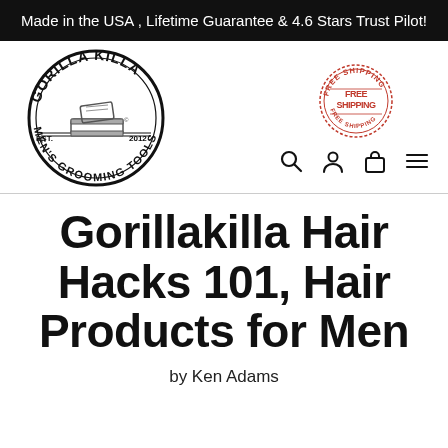Made in the USA , Lifetime Guarantee & 4.6 Stars Trust Pilot!
[Figure (logo): Gorilla Killa Men's Grooming Tools circular logo with nail clipper illustration, EST. 2012]
[Figure (logo): Free Shipping circular stamp badge in red]
Gorillakilla Hair Hacks 101, Hair Products for Men
by Ken Adams